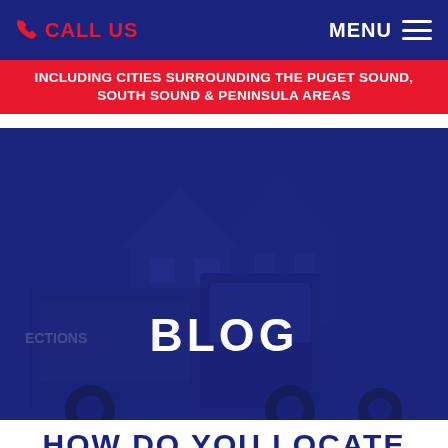CALL US   MENU
INCLUDING CITIES SURROUNDING THE PUGET SOUND, SOUTH SOUND & PENINSULA AREAS
[Figure (photo): A service vehicle/truck parked in front of a house, overlaid with a dark navy blue tint. The company name is partially visible on the truck.]
BLOG
HOW DO YOU LOCATE